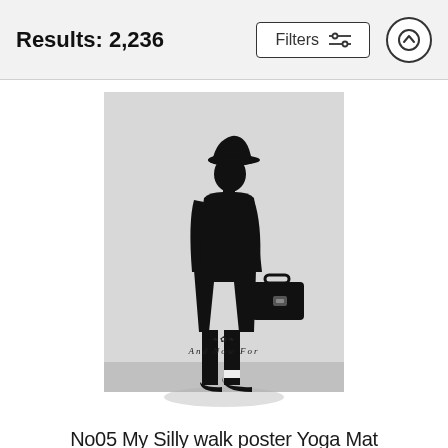Results: 2,236
[Figure (screenshot): A yoga mat product image showing a silhouette of a man in a bowler hat carrying a briefcase, on a light gray background, with ornate text 'And Now For' at the bottom]
No05 My Silly walk poster Yoga Mat
Chungkong Art